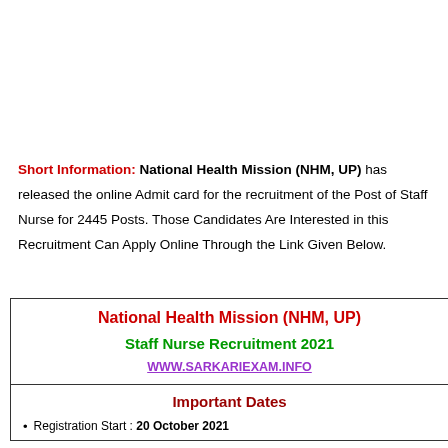Short Information: National Health Mission (NHM, UP) has released the online Admit card for the recruitment of the Post of Staff Nurse for 2445 Posts. Those Candidates Are Interested in this Recruitment Can Apply Online Through the Link Given Below.
| National Health Mission (NHM, UP) |
| Staff Nurse Recruitment 2021 |
| WWW.SARKARIEXAM.INFO |
| Important Dates |
| Registration Start : 20 October 2021 |
Registration Start : 20 October 2021